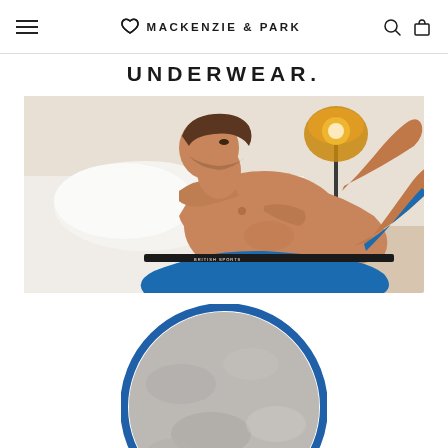MACKENZIE & PARK — navigation bar with hamburger menu, logo, search and cart icons
UNDERWEAR.
[Figure (photo): Male model wearing blue underwear lying on a bed with a floor lamp in the background, lifestyle product photography for Mackenzie & Park underwear brand]
[Figure (photo): Circular cropped image partially visible at bottom of page, showing underwear product on a textured background, framed in a blue circle border]